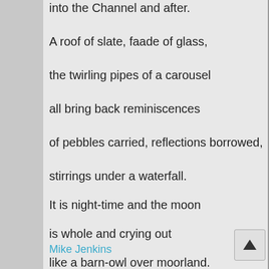into the Channel and after.
A roof of slate, faade of glass,
the twirling pipes of a carousel
all bring back reminiscences
of pebbles carried, reflections borrowed,
stirrings under a waterfall.
It is night-time and the moon
is whole and crying out
like a barn-owl over moorland.
I must go and never know
what will become of me.
Mike Jenkins